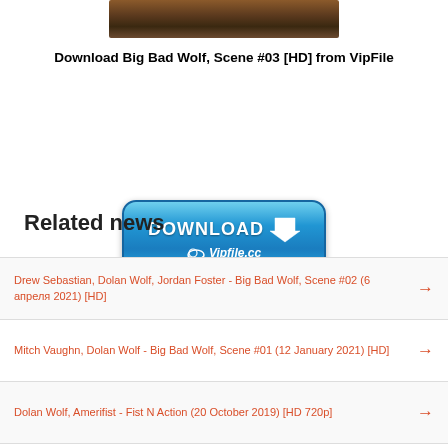[Figure (photo): Dark scene photo at top of page]
Download Big Bad Wolf, Scene #03 [HD] from VipFile
[Figure (other): Blue DOWNLOAD button with VipFile.cc branding and upload your file tagline]
Related news
Drew Sebastian, Dolan Wolf, Jordan Foster - Big Bad Wolf, Scene #02 (6 апреля 2021) [HD]
Mitch Vaughn, Dolan Wolf - Big Bad Wolf, Scene #01 (12 January 2021) [HD]
Dolan Wolf, Amerifist - Fist N Action (20 October 2019) [HD 720p]
Mitch Vaughn, Dolan Wolf - Big Bad Wolf, Scene 01 (23 January 2018) [HD 720p]